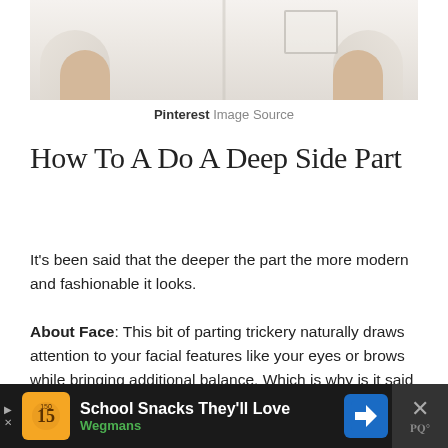[Figure (photo): Woman wearing a white linen button-up shirt with rolled sleeves and a chest pocket, hands at sides]
Pinterest Image Source
How To A Do A Deep Side Part
It's been said that the deeper the part the more modern and fashionable it looks.
About Face: This bit of parting trickery naturally draws attention to your facial features like your eyes or brows while bringing additional balance. Which is why is it said to be super flattering to pretty much every face shape.
[Figure (screenshot): Advertisement bar at bottom: School Snacks They'll Love - Wegmans ad with navigation arrow icon and close button]